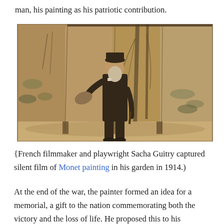man, his painting as his patriotic contribution.
[Figure (photo): Black and white / sepia photograph of an elderly bearded man (Monet) standing in the center of a large curved studio space surrounded by his large-scale Water Lilies paintings on curved walls. He holds a palette in one hand and a cane or brush in the other.]
{French filmmaker and playwright Sacha Guitry captured silent film of Monet painting in his garden in 1914.)
At the end of the war, the painter formed an idea for a memorial, a gift to the nation commemorating both the victory and the loss of life. He proposed this to his